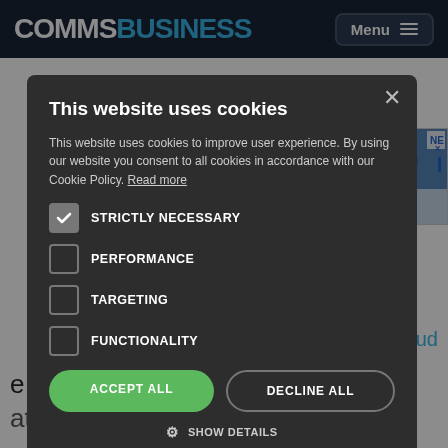COMMSBUSINESS — Menu
This website uses cookies
This website uses cookies to improve user experience. By using our website you consent to all cookies in accordance with our Cookie Policy. Read more
STRICTLY NECESSARY
PERFORMANCE
TARGETING
FUNCTIONALITY
ACCEPT ALL
DECLINE ALL
SHOW DETAILS